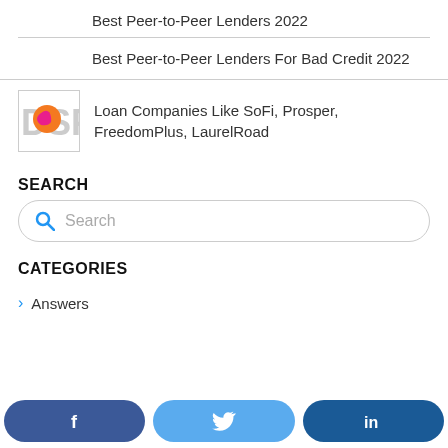Best Peer-to-Peer Lenders 2022
Best Peer-to-Peer Lenders For Bad Credit 2022
Loan Companies Like SoFi, Prosper, FreedomPlus, LaurelRoad
SEARCH
Search
CATEGORIES
Answers